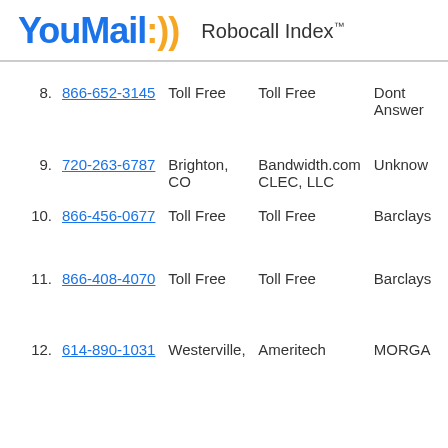YouMail:))) Robocall Index™
| # | Phone | Location | Carrier | Name |
| --- | --- | --- | --- | --- |
| 8. | 866-652-3145 | Toll Free | Toll Free | Dont Answer |
| 9. | 720-263-6787 | Brighton, CO | Bandwidth.com CLEC, LLC | Unknown |
| 10. | 866-456-0677 | Toll Free | Toll Free | Barclays |
| 11. | 866-408-4070 | Toll Free | Toll Free | Barclays |
| 12. | 614-890-1031 | Westerville, | Ameritech | MORGA |